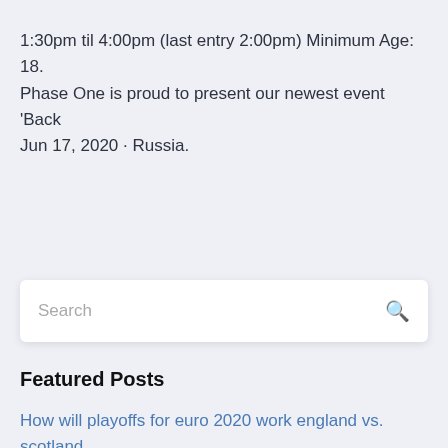1:30pm til 4:00pm (last entry 2:00pm) Minimum Age: 18. Phase One is proud to present our newest event 'Back Jun 17, 2020 · Russia.
Search
Featured Posts
How will playoffs for euro 2020 work england vs. scotland